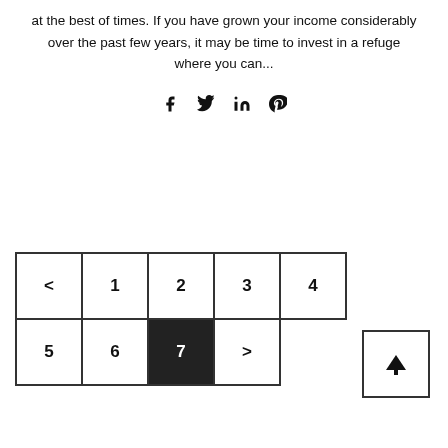at the best of times. If you have grown your income considerably over the past few years, it may be time to invest in a refuge where you can...
[Figure (infographic): Social sharing icons: Facebook, Twitter, LinkedIn, Pinterest]
[Figure (infographic): Pagination navigation with page buttons: < 1 2 3 4 5 on top row, 6 7(active/current) > on bottom row]
[Figure (infographic): Back to top button with upward arrow]